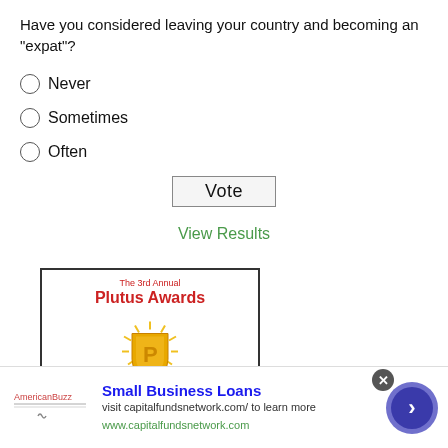Have you considered leaving your country and becoming an "expat"?
Never
Sometimes
Often
Vote
View Results
[Figure (logo): The 3rd Annual Plutus Awards logo with a gold trophy and 'Winner' banner]
[Figure (infographic): Advertisement for Small Business Loans from capitalfundsnetwork.com with logo, headline, subtext, and navigation button]